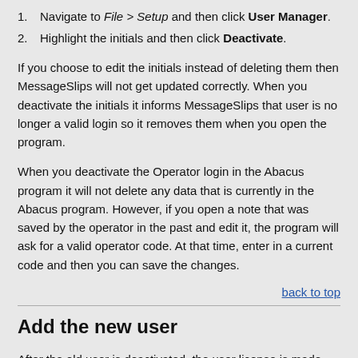Navigate to File > Setup and then click User Manager.
Highlight the initials and then click Deactivate.
If you choose to edit the initials instead of deleting them then MessageSlips will not get updated correctly. When you deactivate the initials it informs MessageSlips that user is no longer a valid login so it removes them when you open the program.
When you deactivate the Operator login in the Abacus program it will not delete any data that is currently in the Abacus program. However, if you open a note that was saved by the operator in the past and edit it, the program will ask for a valid operator code. At that time, enter in a current code and then you can save the changes.
back to top
Add the new user
After the old user is deactivated, the user license is made available, and you can add the new user to AbacusLaw following this KB article.